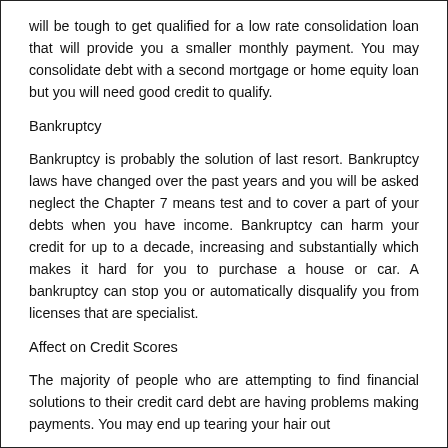will be tough to get qualified for a low rate consolidation loan that will provide you a smaller monthly payment. You may consolidate debt with a second mortgage or home equity loan but you will need good credit to qualify.
Bankruptcy
Bankruptcy is probably the solution of last resort. Bankruptcy laws have changed over the past years and you will be asked neglect the Chapter 7 means test and to cover a part of your debts when you have income. Bankruptcy can harm your credit for up to a decade, increasing and substantially which makes it hard for you to purchase a house or car. A bankruptcy can stop you or automatically disqualify you from licenses that are specialist.
Affect on Credit Scores
The majority of people who are attempting to find financial solutions to their credit card debt are having problems making payments. You may end up tearing your hair out